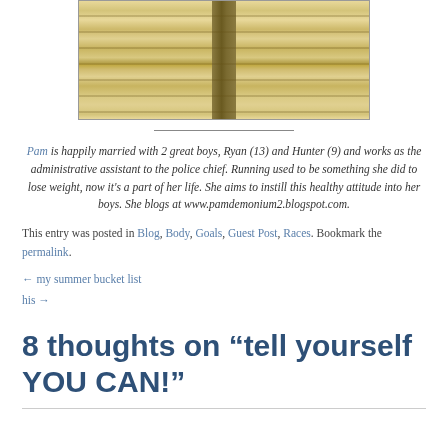[Figure (photo): Photo of wooden planks/boards with a vertical post in the center, light tan/yellow wood color]
Pam is happily married with 2 great boys, Ryan (13) and Hunter (9) and works as the administrative assistant to the police chief. Running used to be something she did to lose weight, now it's a part of her life. She aims to instill this healthy attitude into her boys. She blogs at www.pamdemonium2.blogspot.com.
This entry was posted in Blog, Body, Goals, Guest Post, Races. Bookmark the permalink.
← my summer bucket list
his →
8 thoughts on “tell yourself YOU CAN!”